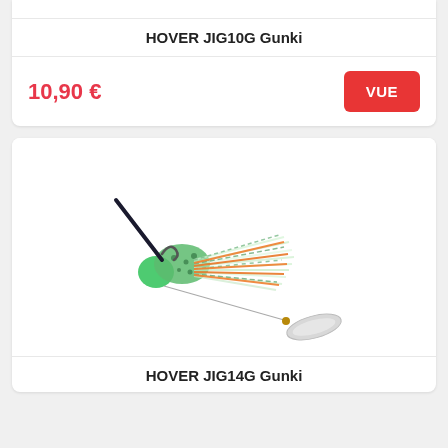HOVER JIG10G Gunki
10,90 €
VUE
[Figure (photo): Fishing lure (spinnerbait) with green head, mixed green/orange/white skirt, black wire arm, and a silver willow-leaf blade spinner]
HOVER JIG14G Gunki